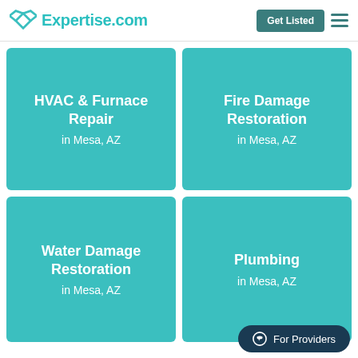Expertise.com | Get Listed
[Figure (other): Card: HVAC & Furnace Repair in Mesa, AZ]
[Figure (other): Card: Fire Damage Restoration in Mesa, AZ]
[Figure (other): Card: Water Damage Restoration in Mesa, AZ]
[Figure (other): Card: Plumbing in Mesa, AZ]
For Providers